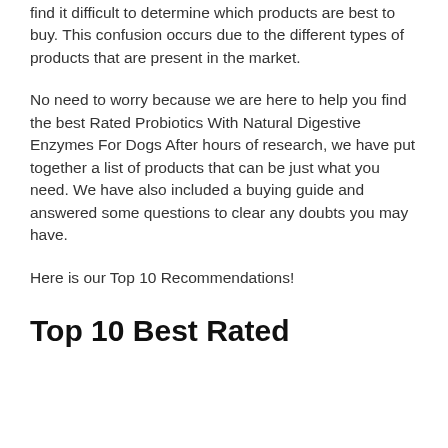find it difficult to determine which products are best to buy. This confusion occurs due to the different types of products that are present in the market.
No need to worry because we are here to help you find the best Rated Probiotics With Natural Digestive Enzymes For Dogs After hours of research, we have put together a list of products that can be just what you need. We have also included a buying guide and answered some questions to clear any doubts you may have.
Here is our Top 10 Recommendations!
Top 10 Best Rated